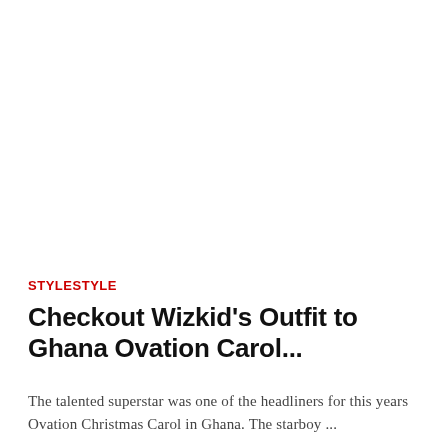[Figure (photo): White/blank image area at top of article card]
STYLESTYLE
Checkout Wizkid's Outfit to Ghana Ovation Carol...
The talented superstar was one of the headliners for this years Ovation Christmas Carol in Ghana. The starboy ...